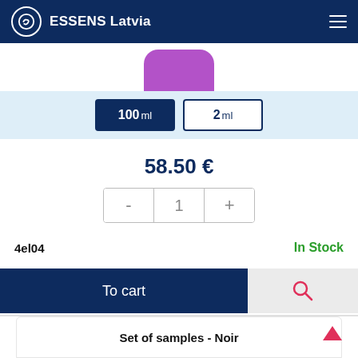ESSENS Latvia
[Figure (screenshot): Partial view of a purple product bottle (top portion visible)]
100 ml | 2 ml (size selector buttons)
58.50 €
- 1 + (quantity selector)
4el04   In Stock
To cart
Set of samples - Noir
[Figure (photo): Partial view of a dark/black product box for Set of samples - Noir]